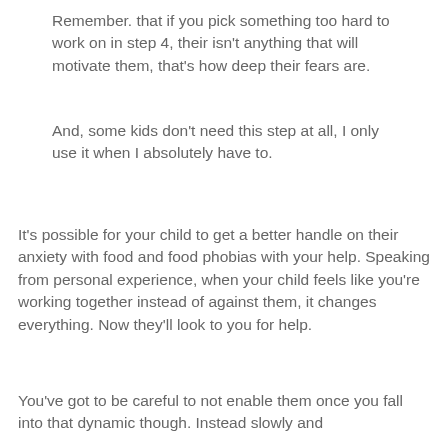Remember. that if you pick something too hard to work on in step 4, their isn't anything that will motivate them, that's how deep their fears are.
And, some kids don't need this step at all, I only use it when I absolutely have to.
It's possible for your child to get a better handle on their anxiety with food and food phobias with your help. Speaking from personal experience, when your child feels like you're working together instead of against them, it changes everything. Now they'll look to you for help.
You've got to be careful to not enable them once you fall into that dynamic though. Instead slowly and